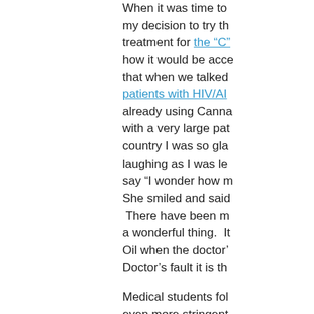When it was time to my decision to try th treatment for the "C" how it would be acce that when we talked patients with HIV/AI already using Canna with a very large pat country I was so gla laughing as I was le say "I wonder how m She smiled and said There have been m a wonderful thing. It Oil when the doctor' Doctor's fault it is th
Medical students fol even more stringent by large pharmaceu results in keeping Am who are accepted in